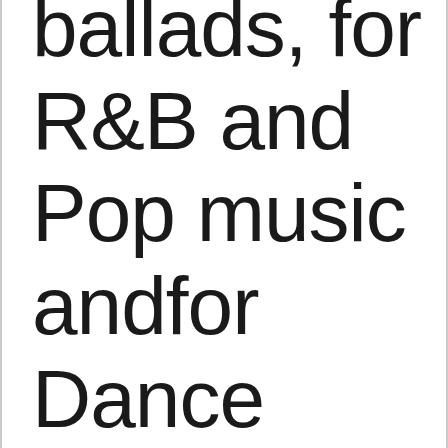ballads, for R&B and Pop music andfor Dance remixes.  It is